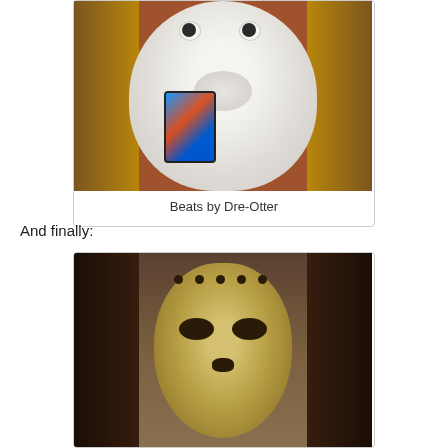[Figure (photo): A white inflatable or stuffed otter figure with a smartphone taped to its front, with wires/whiskers, brown hair on sides. Caption reads 'Beats by Dre-Otter'.]
Beats by Dre-Otter
And finally:
[Figure (photo): A sepia-toned close-up photo of a realistic doll or mask face with holes across the forehead, hollow eye sockets, and dark hair on the sides, lying on a textured surface.]